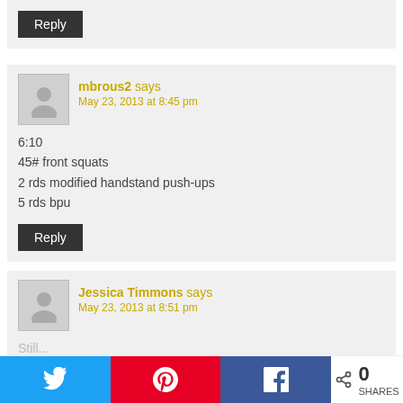Reply
mbrous2 says
May 23, 2013 at 8:45 pm
6:10
45# front squats
2 rds modified handstand push-ups
5 rds bpu
Reply
Jessica Timmons says
May 23, 2013 at 8:51 pm
Still...
0 SHARES